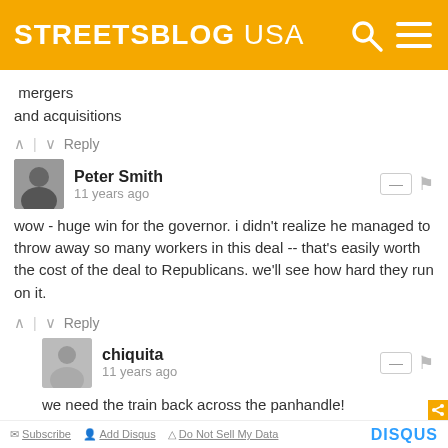[Figure (logo): Streetsblog USA logo on yellow/amber header with search and menu icons]
mergers
and acquisitions
∧ | ∨  Reply
Peter Smith
11 years ago
wow - huge win for the governor. i didn't realize he managed to throw away so many workers in this deal -- that's easily worth the cost of the deal to Republicans. we'll see how hard they run on it.
∧ | ∨  Reply
chiquita
11 years ago
we need the train back across the panhandle!
∧ | ∨  Reply
Subscribe  Add Disqus  Do Not Sell My Data  DISQUS